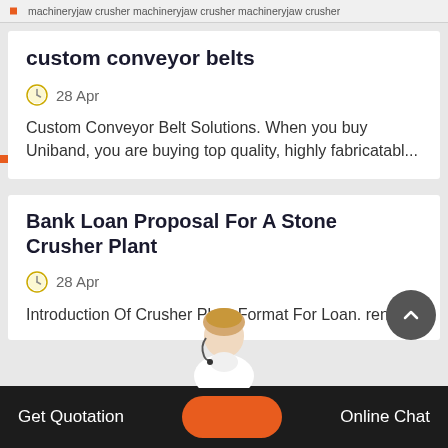machineryjaw crusher machineryjaw crusher (cropped)
custom conveyor belts
28 Apr
Custom Conveyor Belt Solutions. When you buy Uniband, you are buying top quality, highly fabricatabl...
Bank Loan Proposal For A Stone Crusher Plant
28 Apr
Introduction Of Crusher Plant Format For Loan. rent
Get Quotation   Online Chat